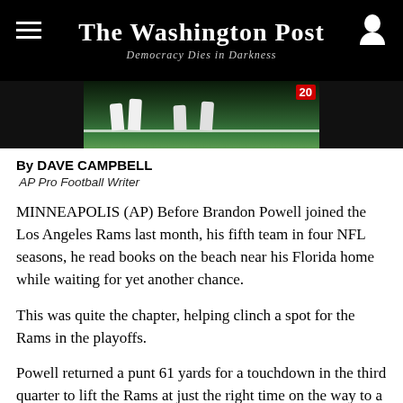The Washington Post — Democracy Dies in Darkness
[Figure (photo): Football players on a field, partial view showing legs and grass with yard line markings, number 20 visible on scoreboard/graphic in background]
By DAVE CAMPBELL
 AP Pro Football Writer
MINNEAPOLIS (AP) Before Brandon Powell joined the Los Angeles Rams last month, his fifth team in four NFL seasons, he read books on the beach near his Florida home while waiting for yet another chance.
This was quite the chapter, helping clinch a spot for the Rams in the playoffs.
Powell returned a punt 61 yards for a touchdown in the third quarter to lift the Rams at just the right time on the way to a 30-23 victory over the Vikings on Sunday that also secured a postseason berth for Arizona.
"I just did the easy part. I just caught the ball and ran the ball